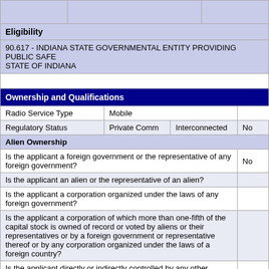|  |  |  |
| --- | --- | --- |
|  |  |  |
Eligibility
90.617 - INDIANA STATE GOVERNMENTAL ENTITY PROVIDING PUBLIC SAFETY COMMUNICATIONS IN THE STATE OF INDIANA
Ownership and Qualifications
| Radio Service Type | Mobile |  |
| --- | --- | --- |
| Regulatory Status | Private Comm | Interconnected | No |
Alien Ownership
| Is the applicant a foreign government or the representative of any foreign government? | No |
| Is the applicant an alien or the representative of an alien? |  |
| Is the applicant a corporation organized under the laws of any foreign government? |  |
| Is the applicant a corporation of which more than one-fifth of the capital stock is owned of record or voted by aliens or their representatives or by a foreign government or representative thereof or by any corporation organized under the laws of a foreign country? |  |
| Is the applicant directly or indirectly controlled by any other corporation of which more than one-fourth of the capital stock is owned of record or voted by aliens, their representatives, or by a foreign government or representative thereof, or by any corporation organized under the laws of a foreign country? |  |
| The Alien Ruling question is not answered. |  |
Basic Qualifications
The Applicant answered "No" to each of the Basic Qualification questions.